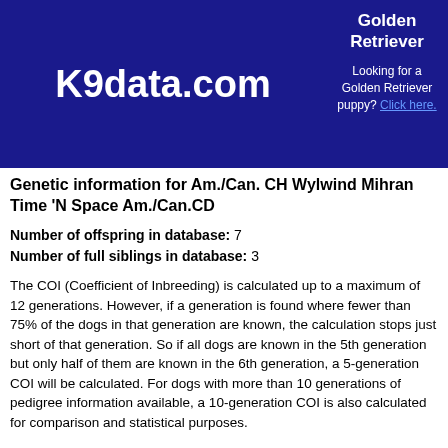Golden Retriever
K9data.com
Looking for a Golden Retriever puppy? Click here.
Genetic information for Am./Can. CH Wylwind Mihran Time 'N Space Am./Can.CD
Number of offspring in database: 7
Number of full siblings in database: 3
The COI (Coefficient of Inbreeding) is calculated up to a maximum of 12 generations. However, if a generation is found where fewer than 75% of the dogs in that generation are known, the calculation stops just short of that generation. So if all dogs are known in the 5th generation but only half of them are known in the 6th generation, a 5-generation COI will be calculated. For dogs with more than 10 generations of pedigree information available, a 10-generation COI is also calculated for comparison and statistical purposes.